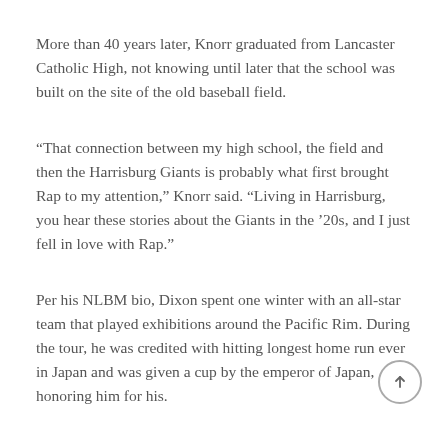More than 40 years later, Knorr graduated from Lancaster Catholic High, not knowing until later that the school was built on the site of the old baseball field.
“That connection between my high school, the field and then the Harrisburg Giants is probably what first brought Rap to my attention,” Knorr said. “Living in Harrisburg, you hear these stories about the Giants in the ’20s, and I just fell in love with Rap.”
Per his NLBM bio, Dixon spent one winter with an all-star team that played exhibitions around the Pacific Rim. During the tour, he was credited with hitting longest home run ever in Japan and was given a cup by the emperor of Japan, honoring him for his.